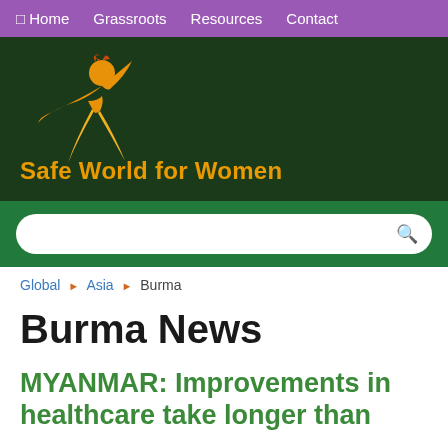Home  Grassroots  Resources  Contact
[Figure (logo): Safe World for Women logo — orange and yellow figure with flame, swooping pose]
Safe World for Women
Global › Asia › Burma
Burma News
MYANMAR: Improvements in healthcare take longer than